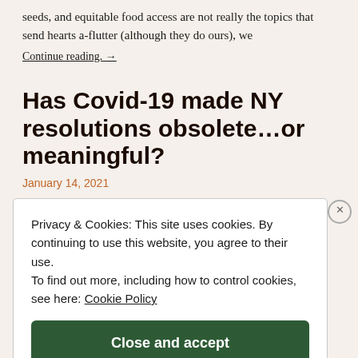seeds, and equitable food access are not really the topics that send hearts a-flutter (although they do ours), we
Continue reading. →
Has Covid-19 made NY resolutions obsolete…or meaningful?
January 14, 2021
January is about resets. But with Covid dominating 2020
Privacy & Cookies: This site uses cookies. By continuing to use this website, you agree to their use. To find out more, including how to control cookies, see here: Cookie Policy
Close and accept